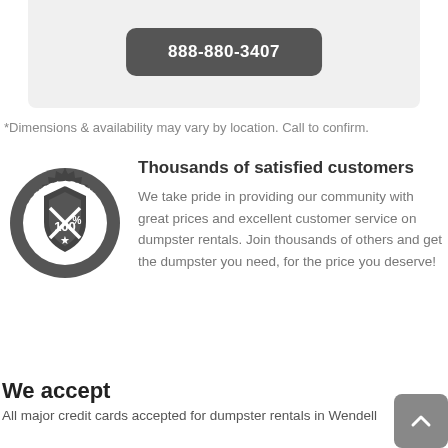[Figure (other): Dark rounded-rectangle button with white bold text '888-880-3407' on a light gray card background]
*Dimensions & availability may vary by location. Call to confirm.
[Figure (illustration): Circular 'Satisfaction 100% Guaranteed' badge/seal in dark gray with shield, stars, and crossed tools motif]
Thousands of satisfied customers
We take pride in providing our community with great prices and excellent customer service on dumpster rentals. Join thousands of others and get the dumpster you need, for the price you deserve!
We accept
All major credit cards accepted for dumpster rentals in Wendell